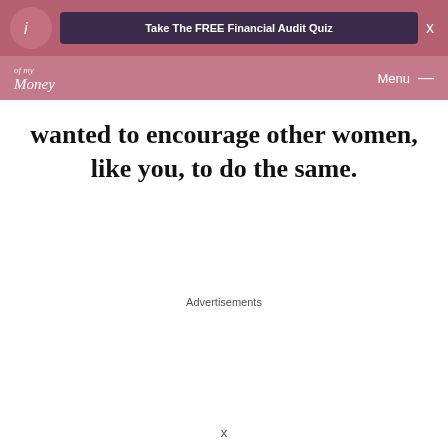Take The FREE Financial Audit Quiz  X
[Figure (logo): In Charge of my Money website logo with circular icon and script text]
wanted to encourage other women, like you, to do the same.
Advertisements
x